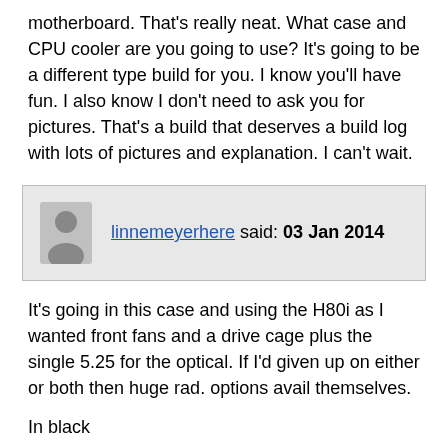motherboard. That's really neat. What case and CPU cooler are you going to use? It's going to be a different type build for you. I know you'll have fun. I also know I don't need to ask you for pictures. That's a build that deserves a build log with lots of pictures and explanation. I can't wait.
linnemeyerhere said: 03 Jan 2014
It's going in this case and using the H80i as I wanted front fans and a drive cage plus the single 5.25 for the optical. If I'd given up on either or both then huge rad. options avail themselves.
In black